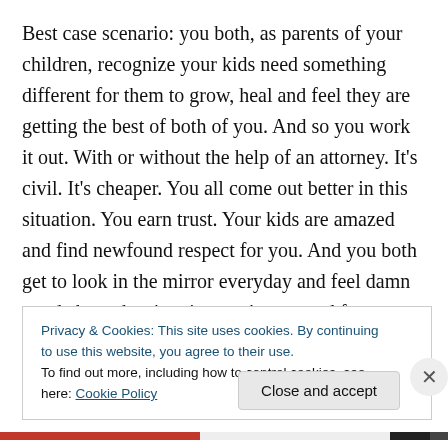Best case scenario: you both, as parents of your children, recognize your kids need something different for them to grow, heal and feel they are getting the best of both of you. And so you work it out. With or without the help of an attorney. It's civil. It's cheaper. You all come out better in this situation. You earn trust. Your kids are amazed and find newfound respect for you. And you both get to look in the mirror everyday and feel damn good about the situation you've created for your children. That is .. if you genuinely love your children and truly want what is best for them
Privacy & Cookies: This site uses cookies. By continuing to use this website, you agree to their use.
To find out more, including how to control cookies, see here: Cookie Policy
Close and accept